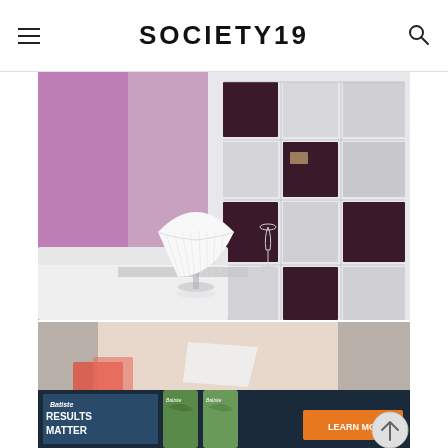SOCIETY19
[Figure (photo): Interior room photo showing a white table lamp with a pleated shade on a mirrored surface, with a white sofa and dark shelving unit with mirror tiles in the background, purple ambient lighting on the left wall]
[Figure (photo): Photo showing beauty/hair products on a carpet surface with a Batiste advertisement banner overlay reading 'RESULTS MATTER' with 'LEARN MORE' button]